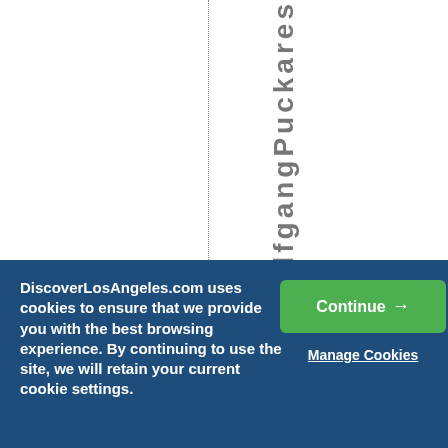WolfgangPuckares
DiscoverLosAngeles.com uses cookies to ensure that we provide you with the best browsing experience. By continuing to use the site, we will retain your current cookie settings.
Continue →
Manage Cookies